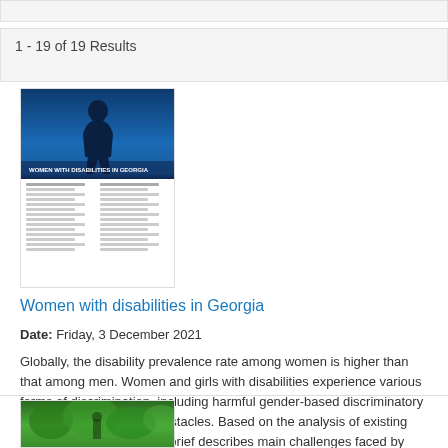1 - 19 of 19 Results
[Figure (photo): Thumbnail image of a document cover showing a woman silhouette against a blue sky, with text below on white background suggesting a two-column article layout]
Women with disabilities in Georgia
Date: Friday, 3 December 2021
Globally, the disability prevalence rate among women is higher than that among men. Women and girls with disabilities experience various forms of discrimination, including harmful gender-based discriminatory practices, among other obstacles. Based on the analysis of existing official statistics the issue brief describes main challenges faced by women and girls with disabilities in Georgia.
[Figure (photo): Thumbnail of a second search result showing a green outdoor scene]